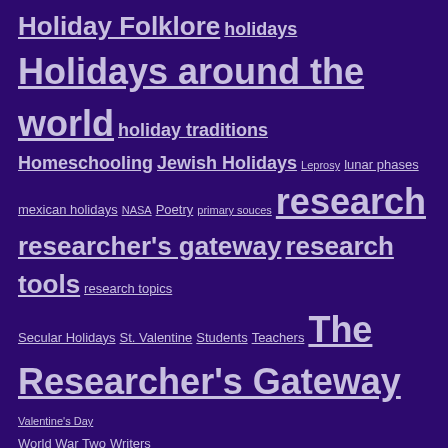Holiday Folklore holidays Holidays around the world holiday traditions Homeschooling Jewish Holidays Leprosy lunar phases mexican holidays NASA Poetry primary souces research researcher's gateway research tools research topics Secular Holidays St. Valentine Students Teachers The Researcher's Gateway Valentine's Day World War Two Writers